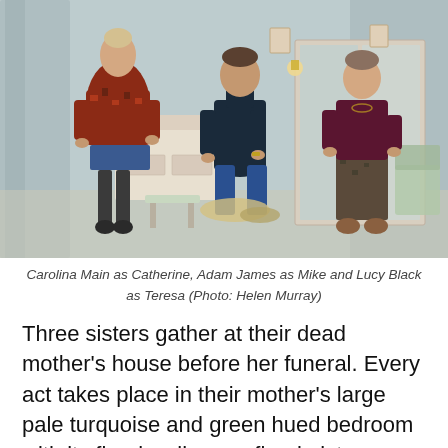[Figure (photo): Theatre production photo showing three actors in a bedroom set with floral wallpaper, mirror wardrobes, and pale turquoise/green decor. Left: a woman in a patterned sweater and short skirt with dark tights standing near a dressing table. Centre: a man in a dark turtleneck seated on the floor. Right: a woman in a dark top and patterned skirt standing near the wardrobe.]
Carolina Main as Catherine, Adam James as Mike and Lucy Black as Teresa (Photo: Helen Murray)
Three sisters gather at their dead mother’s house before her funeral.  Every act takes place in their mother’s large pale turquoise and green hued bedroom with its floral wallpaper, floral pictures and fitted wardrobes with mirror panels.